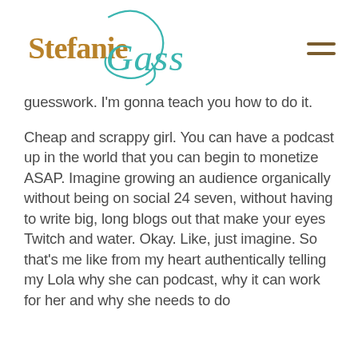Stefanie Gass
guesswork. I'm gonna teach you how to do it.
Cheap and scrappy girl. You can have a podcast up in the world that you can begin to monetize ASAP. Imagine growing an audience organically without being on social 24 seven, without having to write big, long blogs out that make your eyes Twitch and water. Okay. Like, just imagine. So that's me like from my heart authentically telling my Lola why she can podcast, why it can work for her and why she needs to do